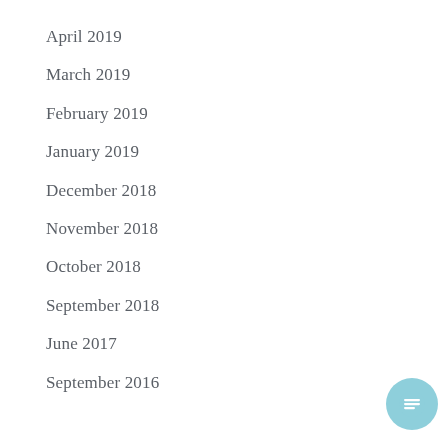April 2019
March 2019
February 2019
January 2019
December 2018
November 2018
October 2018
September 2018
June 2017
September 2016
[Figure (illustration): Light blue circular chat/message button icon in bottom-right corner]